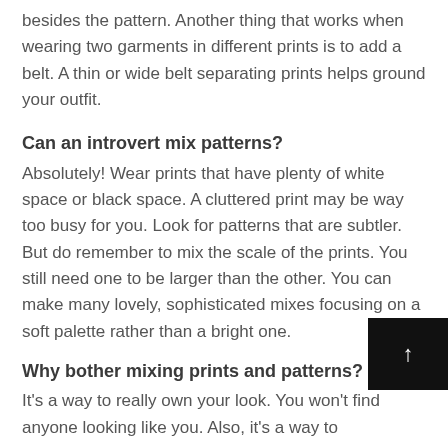besides the pattern. Another thing that works when wearing two garments in different prints is to add a belt. A thin or wide belt separating prints helps ground your outfit.
Can an introvert mix patterns?
Absolutely! Wear prints that have plenty of white space or black space. A cluttered print may be way too busy for you. Look for patterns that are subtler. But do remember to mix the scale of the prints. You still need one to be larger than the other. You can make many lovely, sophisticated mixes focusing on a soft palette rather than a bright one.
Why bother mixing prints and patterns?
It's a way to really own your look. You won't find anyone looking like you. Also, it's a way to